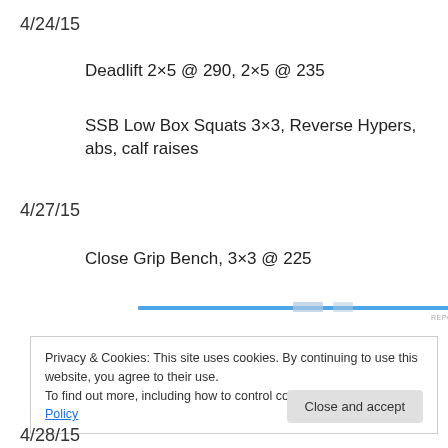4/24/15
Deadlift 2×5 @ 290, 2×5 @ 235
SSB Low Box Squats 3×3, Reverse Hypers, abs, calf raises
4/27/15
Close Grip Bench, 3×3 @ 225
[Figure (other): Advertisement banner with blue horizontal bar and 'REPORT THIS AD' text]
Privacy & Cookies: This site uses cookies. By continuing to use this website, you agree to their use.
To find out more, including how to control cookies, see here: Cookie Policy
4/28/15